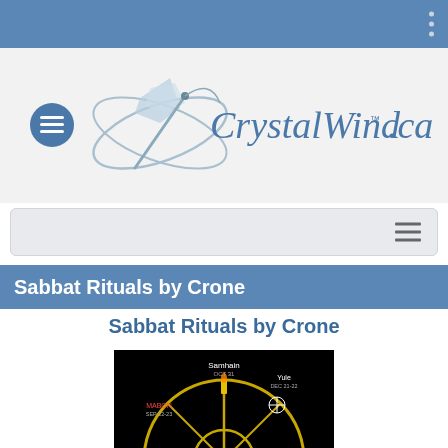[Figure (logo): CrystalWind.ca logo with crystal/needle graphic and cursive text]
[Figure (screenshot): Navigation bar with hamburger menu icon]
Sabbat Rituals by Crone
Sabbat Rituals by Crone
[Figure (illustration): Wheel of the Year diagram on black background showing Sabbat names: Samhain OCT 31, Yule DEC 21-22, IMBOLC FEB 1, Lughnasadh AUG 1, MABON SEP 22-23]